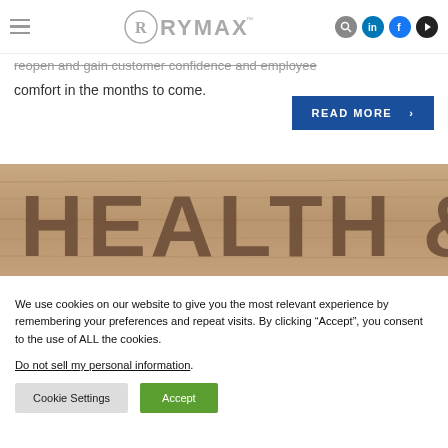RYMAX - navigation bar with hamburger menu, logo, search, LinkedIn, Facebook, YouTube icons
reopen and gain customer confidence and employee comfort in the months to come.
READ MORE >
[Figure (photo): Wooden sign with large brown letters reading HEALTH &]
We use cookies on our website to give you the most relevant experience by remembering your preferences and repeat visits. By clicking “Accept”, you consent to the use of ALL the cookies.
Do not sell my personal information.
Cookie Settings
Accept